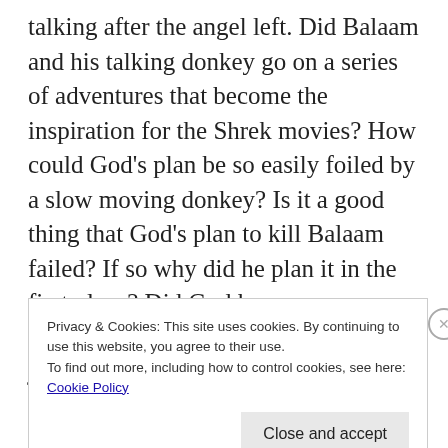talking after the angel left. Did Balaam and his talking donkey go on a series of adventures that become the inspiration for the Shrek movies? How could God's plan be so easily foiled by a slow moving donkey? Is it a good thing that God's plan to kill Balaam failed? If so why did he plan it in the first place? Did God have any reason at all to want to kill Balaam or does he just kill for the fun of it? To be honest the story reads like a silly children's story rather than anything with theological
Privacy & Cookies: This site uses cookies. By continuing to use this website, you agree to their use.
To find out more, including how to control cookies, see here:
Cookie Policy